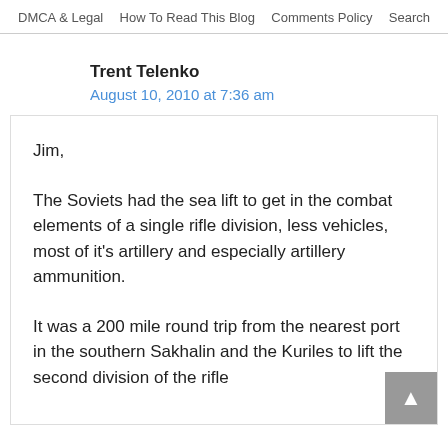DMCA & Legal   How To Read This Blog   Comments Policy   Search
Trent Telenko
August 10, 2010 at 7:36 am
Jim,

The Soviets had the sea lift to get in the combat elements of a single rifle division, less vehicles, most of it's artillery and especially artillery ammunition.

It was a 200 mile round trip from the nearest port in the southern Sakhalin and the Kuriles to lift the second division of the rifle…